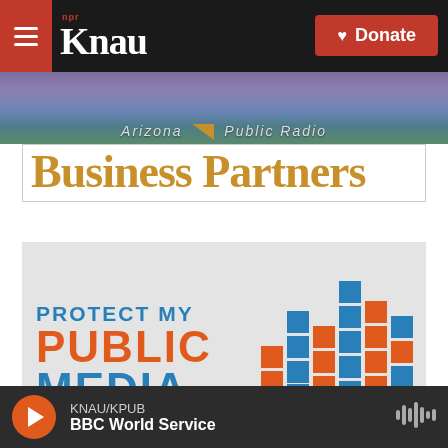[Figure (logo): KNAU NPR radio station header with hamburger menu, KNAU logo, and red Donate button]
[Figure (photo): Mountain landscape banner with purple and blue hues, reading 'Arizona Public Radio']
Business Partners
[Figure (logo): Protect My Public Media logo with blue and orange stacked bar chart graphic]
KNAU/KPUB BBC World Service